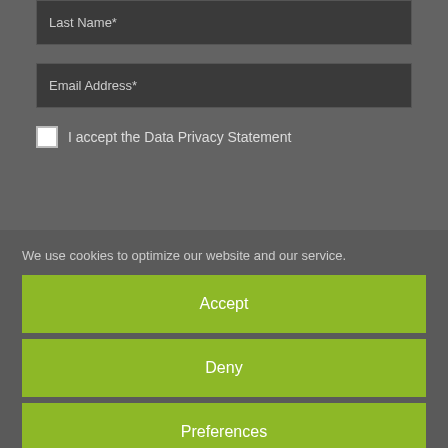Last Name*
Email Address*
I accept the Data Privacy Statement
We use cookies to optimize our website and our service.
Accept
Deny
Preferences
Política de Cookies   Impressum